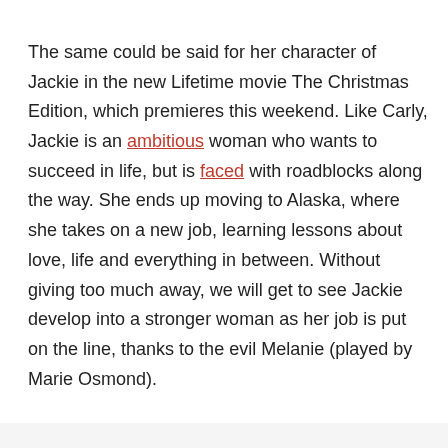The same could be said for her character of Jackie in the new Lifetime movie The Christmas Edition, which premieres this weekend. Like Carly, Jackie is an ambitious woman who wants to succeed in life, but is faced with roadblocks along the way. She ends up moving to Alaska, where she takes on a new job, learning lessons about love, life and everything in between. Without giving too much away, we will get to see Jackie develop into a stronger woman as her job is put on the line, thanks to the evil Melanie (played by Marie Osmond).
[Figure (other): infolinks label bar and BitLife advertisement banner showing red background with yellow BitLife logo on the left, and black background with 'Murder' and 'Do it!' button on the right]